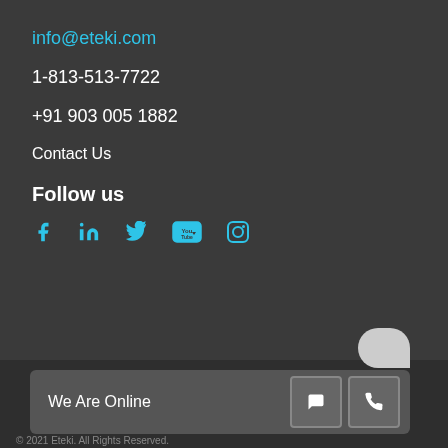info@eteki.com
1-813-513-7722
+91 903 005 1882
Contact Us
Follow us
[Figure (infographic): Social media icons: Facebook, LinkedIn, Twitter, YouTube, Instagram in teal/cyan color]
[Figure (infographic): Chat widget bar with We Are Online text and chat/phone buttons]
© 2021 Eteki. All Rights Reserved.